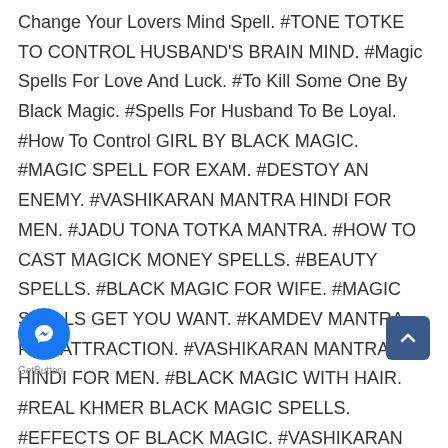Change Your Lovers Mind Spell. #TONE TOTKE TO CONTROL HUSBAND'S BRAIN MIND. #Magic Spells For Love And Luck. #To Kill Some One By Black Magic. #Spells For Husband To Be Loyal. #How To Control GIRL BY BLACK MAGIC. #MAGIC SPELL FOR EXAM. #DESTOY AN ENEMY. #VASHIKARAN MANTRA HINDI FOR MEN. #JADU TONA TOTKA MANTRA. #HOW TO CAST MAGICK MONEY SPELLS. #BEAUTY SPELLS. #BLACK MAGIC FOR WIFE. #MAGIC SPELLS GET YOU WANT. #KAMDEV MANTRA FOR ATTRACTION. #VASHIKARAN MANTRA HINDI FOR MEN. #BLACK MAGIC WITH HAIR. #REAL KHMER BLACK MAGIC SPELLS. #EFFECTS OF BLACK MAGIC. #VASHIKARAN SHABAR MANTRA. #SIMPLE WAY TO DO KALA JADU. #THE WORLD IS TOUGH ON MARRIAGE. #Solution PROBLEMS OF LOVE / GET A GIRL. #Control MY LOVER BY Hypnotism. #GET SOLUTIONS BY relationship problem HYPTONIZE. #HYPNOTIZE ANYONE TO LOVE. #STEP TO DO Vashikaran BY Vashikaran SPECIALIST. #VASHIKARAN PUJA TO GET GIRL BACK. #EFFECTIVE VASHIKARAN MANTRA FOR LOVE. #VASHIKARAN FOR LOVE